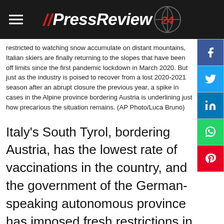//PressReview 24
restricted to watching snow accumulate on distant mountains, Italian skiers are finally returning to the slopes that have been off limits since the first pandemic lockdown in March 2020. But just as the industry is poised to recover from a lost 2020-2021 season after an abrupt closure the previous year, a spike in cases in the Alpine province bordering Austria is underlining just how precarious the situation remains. (AP Photo/Luca Bruno)
Italy's South Tyrol, bordering Austria, has the lowest rate of vaccinations in the country, and the government of the German-speaking autonomous province has imposed fresh restrictions in 20 towns in a bid to allow skiing and other holiday activities to resume normally.
Here's The Biggest News You Missed This Weekend
The omicron variant is now a "variant of concern." Winter weather could impact travel this Thanksgiving weekend. It's the weekend's news the Netherlands confirmed 13 cases of the omicron variant on Sunday, and Australia found two – the latest nations to detect it in travelers arriving